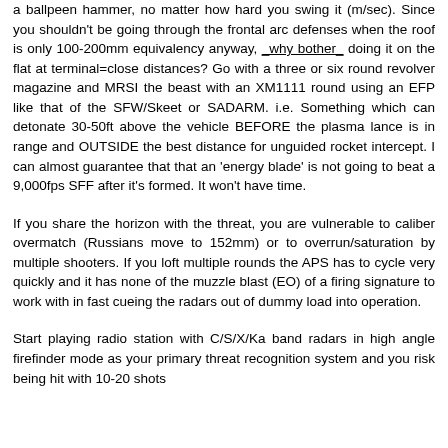a ballpeen hammer, no matter how hard you swing it (m/sec). Since you shouldn't be going through the frontal arc defenses when the roof is only 100-200mm equivalency anyway, _why bother_ doing it on the flat at terminal=close distances? Go with a three or six round revolver magazine and MRSI the beast with an XM1111 round using an EFP like that of the SFW/Skeet or SADARM. i.e. Something which can detonate 30-50ft above the vehicle BEFORE the plasma lance is in range and OUTSIDE the best distance for unguided rocket intercept. I can almost guarantee that that an 'energy blade' is not going to beat a 9,000fps SFF after it's formed. It won't have time.
If you share the horizon with the threat, you are vulnerable to caliber overmatch (Russians move to 152mm) or to overrun/saturation by multiple shooters. If you loft multiple rounds the APS has to cycle very quickly and it has none of the muzzle blast (EO) of a firing signature to work with in fast cueing the radars out of dummy load into operation.
Start playing radio station with C/S/X/Ka band radars in high angle firefinder mode as your primary threat recognition system and you risk being hit with 10-20 shots